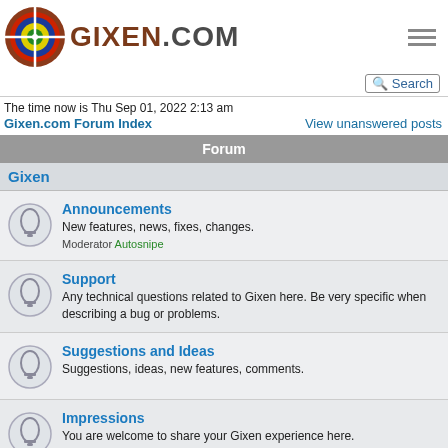[Figure (logo): Gixen.com logo with colorful circular target icon and GIXEN.COM text in brown/dark]
The time now is Thu Sep 01, 2022 2:13 am
Gixen.com Forum Index    View unanswered posts
Forum
Gixen
Announcements
New features, news, fixes, changes.
Moderator Autosnipe
Support
Any technical questions related to Gixen here. Be very specific when describing a bug or problems.
Suggestions and Ideas
Suggestions, ideas, new features, comments.
Impressions
You are welcome to share your Gixen experience here.
Blog
Mario's Gixen Blog for Gixen enthusiasts. Read & post your comments.